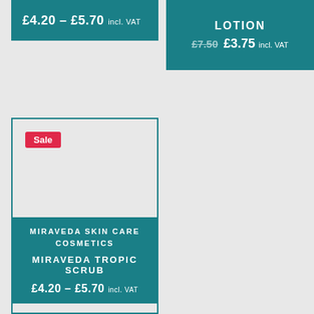£4.20 – £5.70 incl. VAT
LOTION
£7.50  £3.75 incl. VAT
[Figure (other): Product card with Sale badge, empty product image area]
MIRAVEDA SKIN CARE COSMETICS
MIRAVEDA TROPIC SCRUB
£4.20 – £5.70 incl. VAT